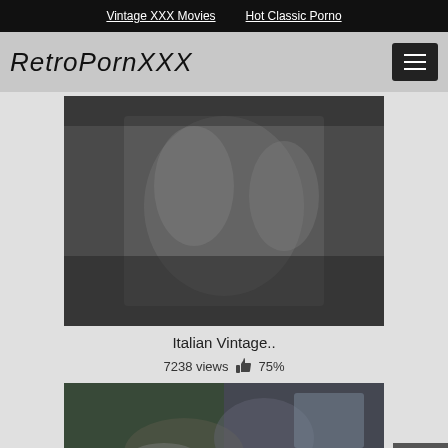Vintage XXX Movies   Hot Classic Porno
RetroPornXXX
[Figure (photo): Blurred/darkened video thumbnail showing adult content]
Italian Vintage..
7238 views 👍 75%
[Figure (photo): Second blurred video thumbnail showing adult content]